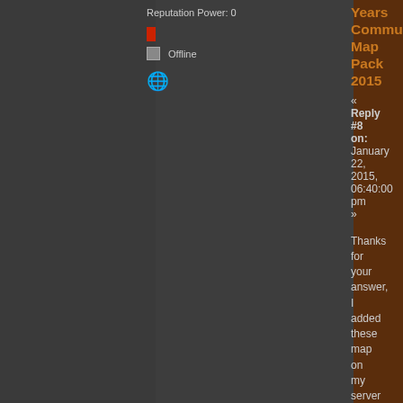Reputation Power: 0
Offline
Years Community Map Pack 2015
« Reply #8 on: January 22, 2015, 06:40:00 pm »
Thanks for your answer, I added these map on my server then activated http autodownload, files are available to http autodownload, my gesource client downloaded the maps from server, but I get that on